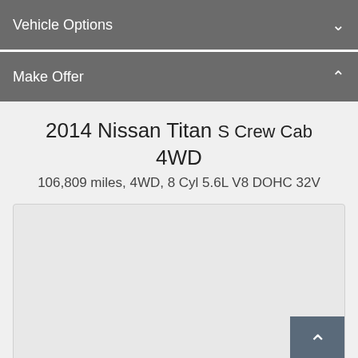Vehicle Options
Make Offer
2014 Nissan Titan S Crew Cab 4WD
106,809 miles, 4WD, 8 Cyl 5.6L V8 DOHC 32V
[Figure (other): Empty image placeholder box with scroll-to-top button in bottom right corner]